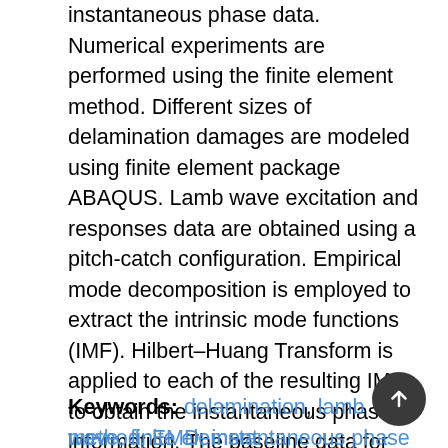instantaneous phase data. Numerical experiments are performed using the finite element method. Different sizes of delamination damages are modeled using finite element package ABAQUS. Lamb wave excitation and responses data are obtained using a pitch-catch configuration. Empirical mode decomposition is employed to extract the intrinsic mode functions (IMF). Hilbert–Huang Transform is applied to each of the resulting IMFs to obtain the instantaneous phase information. The baseline data for healthy plates are also generated using the same procedure. The size of delamination is correlated with the instantaneous phase change for damage diagnosis. It is observed that the unwrapped instantaneous phase of shows a consistent behavior with the increasing delamination size.
Keywords: delamination, lamb wave, finite element method, EMD, instantaneous phase